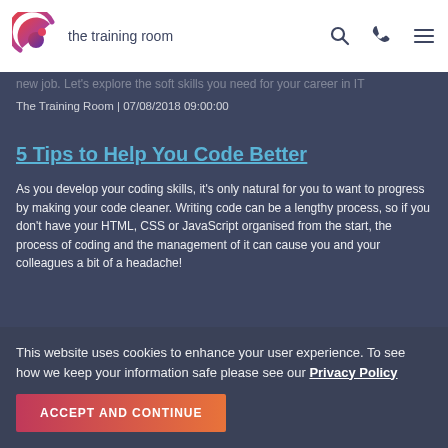the training room
new job. Let's explore the soft skills you need for your career in IT
The Training Room | 07/08/2018 09:00:00
5 Tips to Help You Code Better
As you develop your coding skills, it's only natural for you to want to progress by making your code cleaner. Writing code can be a lengthy process, so if you don't have your HTML, CSS or JavaScript organised from the start, the process of coding and the management of it can cause you and your colleagues a bit of a headache!
If you've looked at your code and it's taken you a while to understand it, it mea
The Training Room | 06/08/2018 09:00:00
This website uses cookies to enhance your user experience. To see how we keep your information safe please see our Privacy Policy
ACCEPT AND CONTINUE